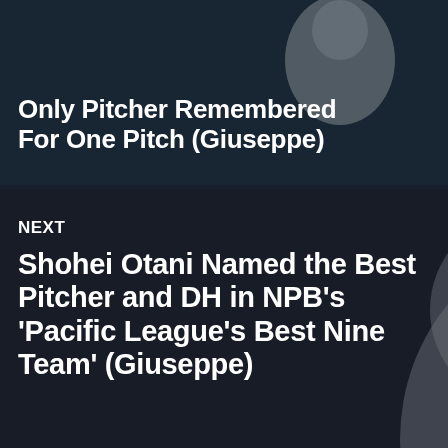[Figure (photo): Baseball pitcher in white uniform mid-throw, dark overlay background]
Only Pitcher Remembered For One Pitch (Giuseppe)
[Figure (photo): Baseball pitcher Shohei Otani in white pinstripe uniform, mid-pitch, dark background]
NEXT
Shohei Otani Named the Best Pitcher and DH in NPB’s ‘Pacific League’s Best Nine Team’ (Giuseppe)
...
×
Advertisements
Build a writing habit. Post on the go.
GET THE APP